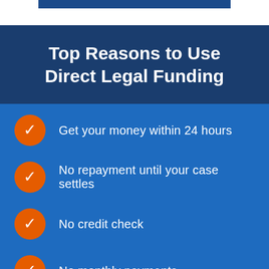Top Reasons to Use Direct Legal Funding
Get your money within 24 hours
No repayment until your case settles
No credit check
No monthly payments
The Most Competitive rates